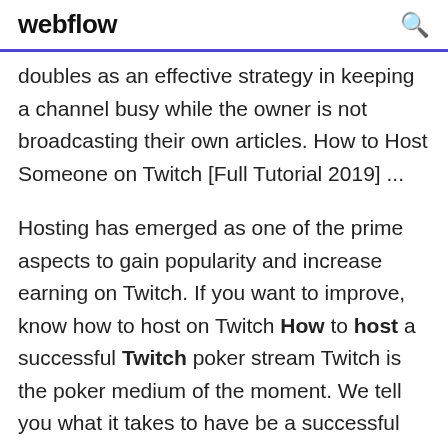webflow
doubles as an effective strategy in keeping a channel busy while the owner is not broadcasting their own articles. How to Host Someone on Twitch [Full Tutorial 2019] ...
Hosting has emerged as one of the prime aspects to gain popularity and increase earning on Twitch. If you want to improve, know how to host on Twitch How to host a successful Twitch poker stream Twitch is the poker medium of the moment. We tell you what it takes to have be a successful streamer, who hosts a great Twitch poker stream. How to Host Someone on Twitch (Easily and Quickly) If you are new to Twitch, chances are that you are not yet